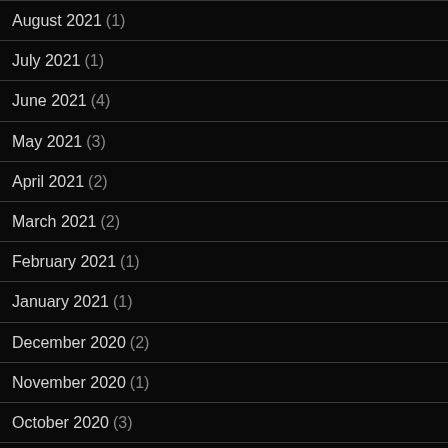August 2021 (1)
July 2021 (1)
June 2021 (4)
May 2021 (3)
April 2021 (2)
March 2021 (2)
February 2021 (1)
January 2021 (1)
December 2020 (2)
November 2020 (1)
October 2020 (3)
September 2020 (1)
August 2020 (2)